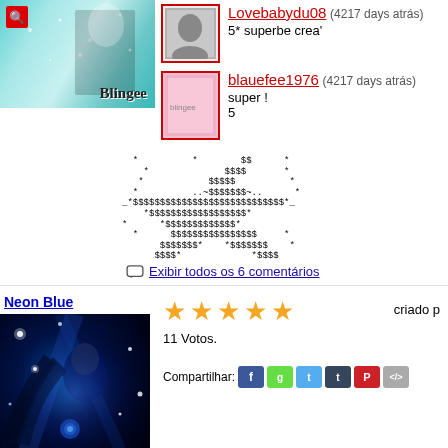[Figure (photo): Decorative glittery teal/cyan blingee image with 'Blingee' text watermark and search icon]
Lovebabydu08 (4217 days atrás)
5* superbe crea'
[Figure (photo): Small pink blingee avatar thumbnail]
blauefee1976 (4217 days atrás)
super !
5
ASCII art dollar sign tree/shape made of $ characters and * and ~ symbols
Exibir todos os 6 comentários
Neon Blue
[Figure (photo): Blue neon glowing illustration of a woman with blue rose and sparkling stars background]
11 Votos.
criado p
Compartilhar: